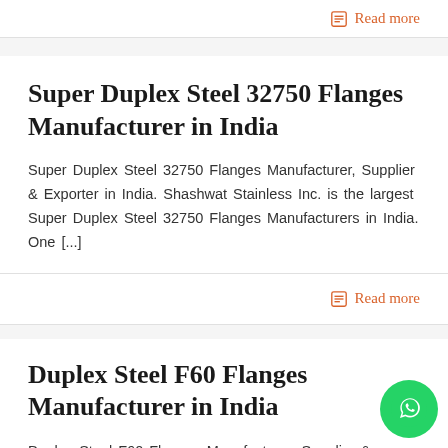Read more
Super Duplex Steel 32750 Flanges Manufacturer in India
Super Duplex Steel 32750 Flanges Manufacturer, Supplier & Exporter in India. Shashwat Stainless Inc. is the largest Super Duplex Steel 32750 Flanges Manufacturers in India. One [...]
Read more
Duplex Steel F60 Flanges Manufacturer in India
Duplex Steel F60 Flanges Manufacturer, Supplier & Exporter in India. Shashwat Stainless Inc. is the largest Duplex Steel F60 Flanges Manufacturers in